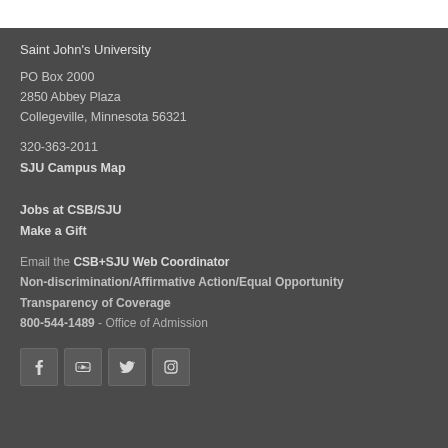Saint John's University
PO Box 2000
2850 Abbey Plaza
Collegeville, Minnesota 56321
320-363-2011
SJU Campus Map
Jobs at CSB/SJU
Make a Gift
Email the CSB+SJU Web Coordinator
Non-discrimination/Affirmative Action/Equal Opportunity
Transparency of Coverage
800-544-1489 - Office of Admission
[Figure (other): Social media icons: Facebook, YouTube, Twitter, Instagram]